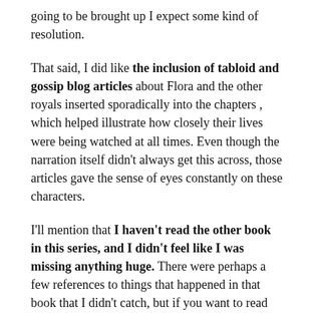going to be brought up I expect some kind of resolution.
That said, I did like the inclusion of tabloid and gossip blog articles about Flora and the other royals inserted sporadically into the chapters , which helped illustrate how closely their lives were being watched at all times. Even though the narration itself didn't always get this across, those articles gave the sense of eyes constantly on these characters.
I'll mention that I haven't read the other book in this series, and I didn't feel like I was missing anything huge. There were perhaps a few references to things that happened in that book that I didn't catch, but if you want to read this one and you haven't read the first book, you should be fine.
So if you're looking for a fun romcom that doesn't take itself too seriously and will definitely make you want to